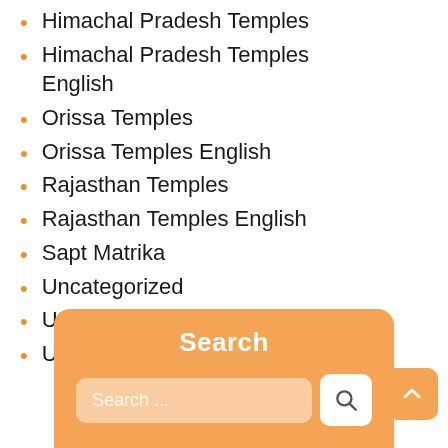Himachal Pradesh Temples
Himachal Pradesh Temples English
Orissa Temples
Orissa Temples English
Rajasthan Temples
Rajasthan Temples English
Sapt Matrika
Uncategorized
Uttar Pradesh Temples
Uttar Pradesh Temples English
[Figure (other): Search widget with orange background, a text input field with placeholder 'Search ...', a white search button with magnifying glass icon, and a back-to-top arrow button]